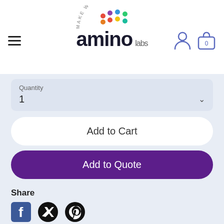[Figure (logo): Amino Labs logo with 'Make with Biology' arc text and colorful dots above the word 'amino labs']
Quantity
1
Add to Cart
Add to Quote
Share
[Figure (other): Social media icons: Facebook, Twitter, Pinterest]
What